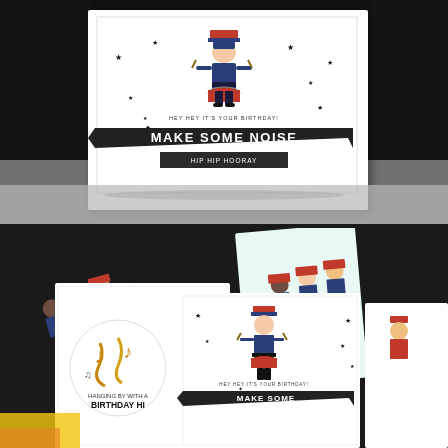[Figure (photo): A handmade birthday card standing upright against a dark background. The card is white with a small illustrated marching band drummer boy character in the center, surrounded by small black star shapes. The card has a black banner/ribbon across the bottom with the text 'HEY HEY IT'S YOUR BIRTHDAY!' above and 'MAKE SOME NOISE' in large letters on the banner. Another smaller black banner reads 'HIP HIP HOORAY'.]
[Figure (photo): A flat lay of multiple handmade birthday cards spread out on a dark surface. Cards feature the same marching band drummer boy characters in blue uniforms with red hats, some with dark skin and light skin variations. One card has a circular element with saxophone illustrations and the text 'HANGING BY WITH A BIRTHDAY HI'. Another white card shows the drummer boy with stars and a black banner reading 'MAKE SOME NOISE'.]